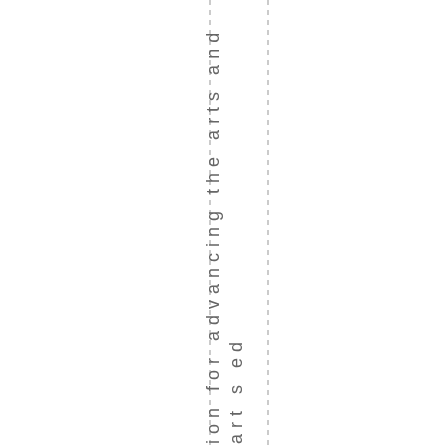ion for advancing the arts and art s ed